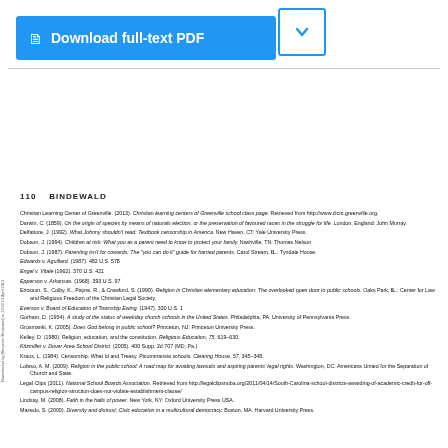[Figure (other): Blue download full-text PDF button with document icon]
110    BINDEWALD
Christian Learning Center of Greenville. (2013). Christian learning centers of Greenville school class page. Retrieved from http://www.clcnt.greenville.org.
Darwin, C. (1859). On the origin of species by means of naturals election, or the preservation of favoured races in the struggle for life. London, England: John Murray.
Delfattore, J. (1992). What Johnny shouldn't read: Textbook censorship in America. New Haven, CT: Yale University Press.
Dobson, J. (1994). Children at risk: What you as a parent need to know to protect your family. Nashville, TN: Thomas Nelson.
Dobson, J. (1987). Parenting isn't for cowards: The "you can do it" guide for harried parents. Carol Stream, IL: Tyndale House.
Edwards v. Aguillard. (1987). 482 U.S. 578
Engel v. Vitale (1962). 370 U.S. 421
Epperson v. Arkansas. (1968). 393 U.S. 97
Ericsson, S., Colby, K., Payne, R., & Crawford, S. (1990). Religion in Christian elementary education: The overlooked open door to public schools. Oaks Park, IL: Center for Law and Religious Freedom of the Christian Legal Society.
Everson v. Board of Education of Township Ewing. (1947). 330 U.S. 1
Gorham, D. (1954). A study of the status of weekday church schools in the United States. Philadelphia, PA: University of Pennsylvania Press.
Grosmanki, K. (2005). Does God belong in public school? Princeton, NJ: Princeton University Press.
Kelley, D. (1980). Religion, education, and the constitution. Religious Education, 75, 619-630.
Kitzmiller v. Dover Area School District. (2005). 400 Supp. 2d 707 (MD, Pa.)
Kraus, L. (1984). Censorship: What Id and Treasy. Picommansia schools. Clearing House, 57, 345-348.
Lofaso, A. M. (2009). Religion in the public school: A road map for avoiding lawsuits and aspiring parents' legal rights. Washington, DC: Americans United for the Separation of Church and State.
Legal Clips (2011). National School Boards Association. Retrieved from http://legalclipsnuba.org/2011/04/14/South-Carolina-school-districts-awarding-of-academic-credit-for-off-campus-religion-struction-does-not-violate-establishment-clause/
Lindsay, M. (2008). Faith in the halls of power. New York, NY: Oxford University Press USA.
Mazedo, S. (2000). Diversity and distrust: Civic education in a multicultural democracy. Boston, MA: Harvard University Press.